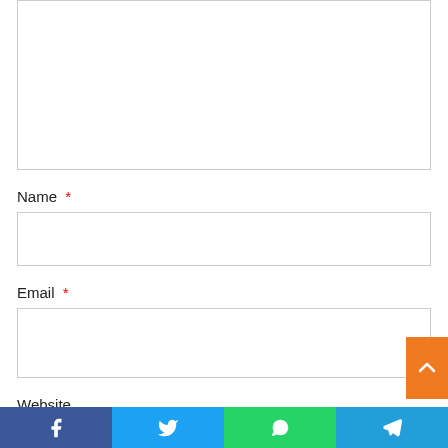[Comment textarea - empty]
Name *
[Name input field - empty]
Email *
[Email input field - empty]
Website
[Website input field - empty]
[Figure (infographic): Social sharing bar with Facebook, Twitter, WhatsApp, and Telegram icons. Orange scroll-to-top button with upward chevron on the right side.]